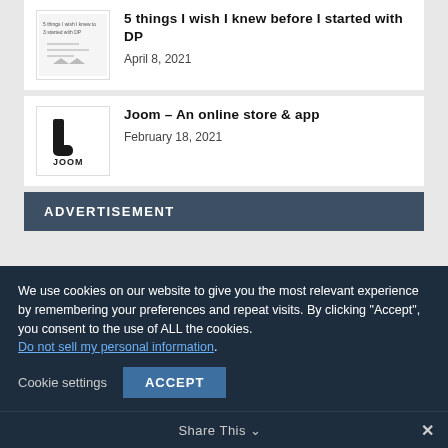[Figure (screenshot): Thumbnail image for article '5 things I wish I knew before I started with DP' showing small text and arrows]
5 things I wish I knew before I started with DP
April 8, 2021
[Figure (logo): Joom logo - black stylized J shape with 'JOOM' text on white background]
Joom – An online store & app
February 18, 2021
ADVERTISEMENT
We use cookies on our website to give you the most relevant experience by remembering your preferences and repeat visits. By clicking "Accept", you consent to the use of ALL the cookies.
Do not sell my personal information.
Cookie settings
ACCEPT
Share This ∨   ✕